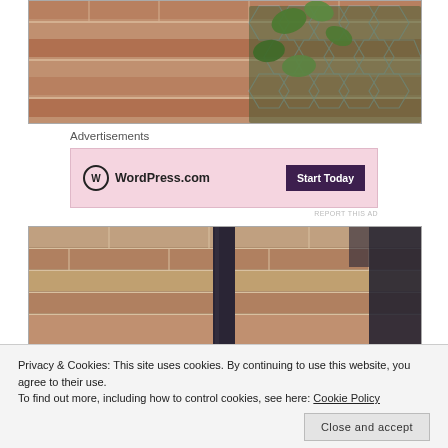[Figure (photo): Chicken wire cone/basket filled with moss and ivy leaves against a red brick wall background]
Advertisements
[Figure (screenshot): WordPress.com advertisement banner with pink background showing WordPress.com logo and 'Start Today' button]
REPORT THIS AD
[Figure (photo): Red brick wall with a dark metal pipe/downspout running vertically through the center]
Privacy & Cookies: This site uses cookies. By continuing to use this website, you agree to their use.
To find out more, including how to control cookies, see here: Cookie Policy
Close and accept
[Figure (photo): Bottom strip showing greenery and red berries]